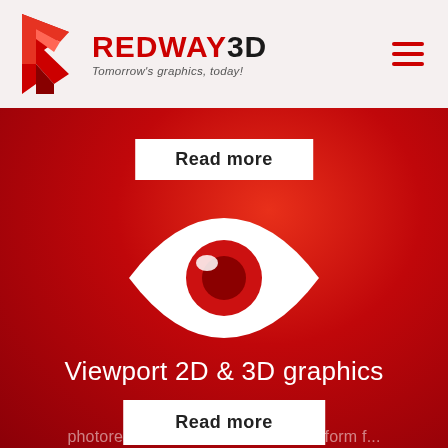[Figure (logo): Redway3D logo with red geometric icon and text 'REDWAY3D Tomorrow's graphics, today!' on light pink/white header bar, with red hamburger menu icon on right]
Read more
[Figure (illustration): White eye icon on red gradient background — stylized eye with red iris/pupil inside]
Viewport 2D & 3D graphics
Read more
photorealistic (high-end image) platform f...